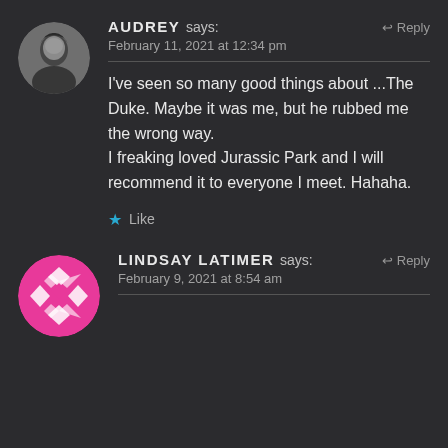[Figure (photo): Circular avatar of Audrey — black and white photo of a woman]
AUDREY says:
Reply
February 11, 2021 at 12:34 pm
I've seen so many good things about ...The Duke. Maybe it was me, but he rubbed me the wrong way.
I freaking loved Jurassic Park and I will recommend it to everyone I meet. Hahaha.
Like
[Figure (photo): Circular avatar of Lindsay Latimer — pink pattern with white diamond shapes]
LINDSAY LATIMER says:
Reply
February 9, 2021 at 8:54 am